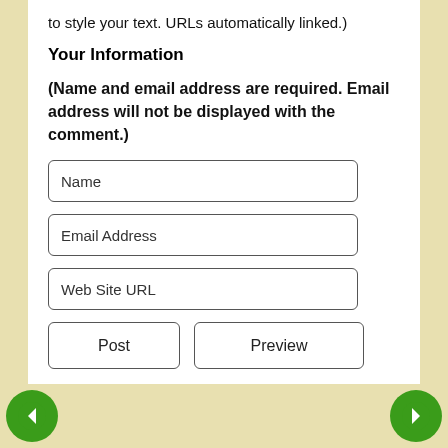to style your text. URLs automatically linked.)
Your Information
(Name and email address are required. Email address will not be displayed with the comment.)
Name
Email Address
Web Site URL
Post
Preview